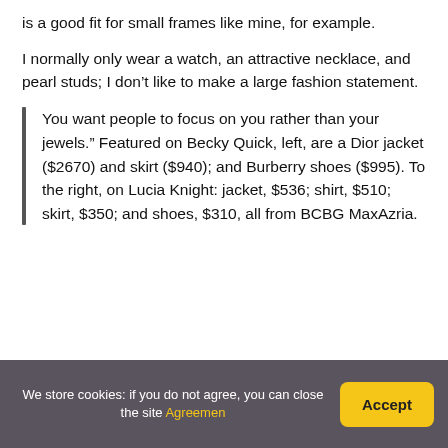is a good fit for small frames like mine, for example.
I normally only wear a watch, an attractive necklace, and pearl studs; I don’t like to make a large fashion statement.
You want people to focus on you rather than your jewels.” Featured on Becky Quick, left, are a Dior jacket ($2670) and skirt ($940); and Burberry shoes ($995). To the right, on Lucia Knight: jacket, $536; shirt, $510; skirt, $350; and shoes, $310, all from BCBG MaxAzria.
We store cookies: if you do not agree, you can close the site Agreement